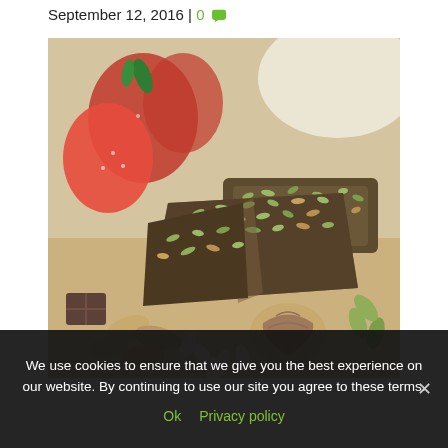September 12, 2016 | 0
[Figure (photo): Granola/energy bars made with oats, seeds, and nuts, broken into pieces, displayed on a wooden cutting board surrounded by almonds, walnuts, sunflower seeds, pumpkin seeds, chocolate pieces, and strawberries in the background.]
We use cookies to ensure that we give you the best experience on our website. By continuing to use our site you agree to these terms.
Ok   Privacy policy